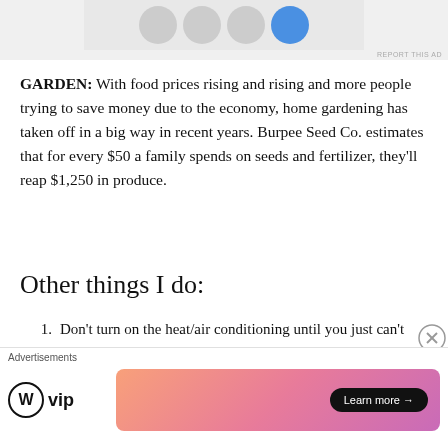[Figure (photo): Top advertisement banner showing avatar/profile images on a gray background with 'REPORT THIS AD' label]
GARDEN: With food prices rising and rising and more people trying to save money due to the economy, home gardening has taken off in a big way in recent years. Burpee Seed Co. estimates that for every $50 a family spends on seeds and fertilizer, they'll reap $1,250 in produce.
Other things I do:
Don't turn on the heat/air conditioning until you just can't take it anymore.
Don't leave the water running while brushing your teeth or washing dishes.
[Figure (other): Bottom advertisement banner with WordPress VIP logo and a gradient pink/orange banner with 'Learn more' button]